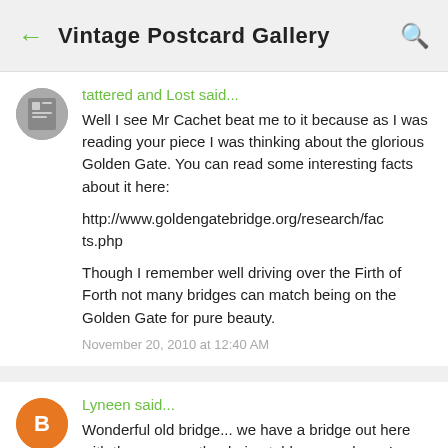← Vintage Postcard Gallery 🔍
tattered and Lost said...
Well I see Mr Cachet beat me to it because as I was reading your piece I was thinking about the glorious Golden Gate. You can read some interesting facts about it here:
http://www.goldengatebridge.org/research/facts.php
Though I remember well driving over the Firth of Forth not many bridges can match being on the Golden Gate for pure beauty.
November 20, 2010 at 12:40 AM
Lyneen said...
Wonderful old bridge... we have a bridge out here with the same myth... being told over and over! TES... Happy REI!